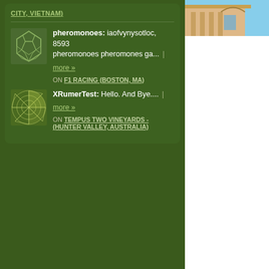CITY, VIETNAM)
pheromonoes: iaofvynysotloc, 8593
pheromonoes pheromones ga...
more »
ON F1 RACING (BOSTON, MA)
XRumerTest: Hello. And Bye....
more »
ON TEMPUS TWO VINEYARDS - (HUNTER VALLEY, AUSTRALIA)
[Figure (photo): Partial view of a building with beige/cream facade and blue sky, cropped at right edge]
If I haven't sold you of the most spectac with a live band, sa